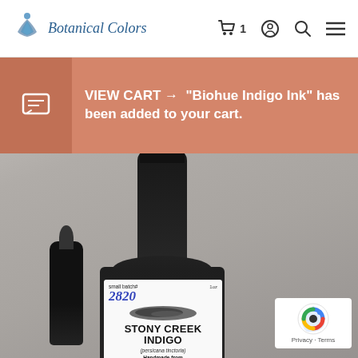Botanical Colors
VIEW CART → “Biohue Indigo Ink” has been added to your cart.
[Figure (photo): Dark glass bottle with white label reading 'Stony Creek Indigo (persicana tinctoria) Handmade from Botanical Extracts', small batch# 2820, 1oz, with a dark ink swatch on the label. A dropper is visible to the left of the bottle. The image is a product photo on a gray background.]
[Figure (logo): reCAPTCHA logo with Privacy and Terms links]